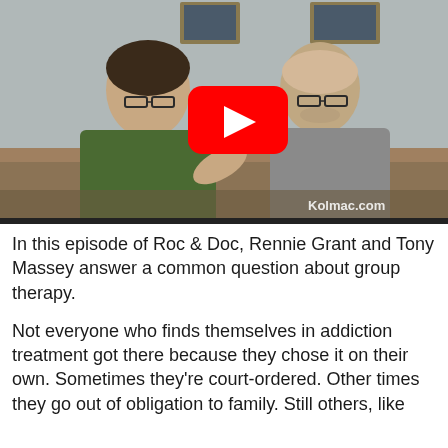[Figure (screenshot): YouTube video thumbnail showing two men seated on a couch. Left man wears a green shirt and glasses, gesturing with his hand. Right man wears a grey sweater and glasses. A red YouTube play button is centered over the image. Kolmac.com watermark appears in the lower right.]
In this episode of Roc & Doc, Rennie Grant and Tony Massey answer a common question about group therapy.
Not everyone who finds themselves in addiction treatment got there because they chose it on their own. Sometimes they're court-ordered. Other times they go out of obligation to family. Still others, like